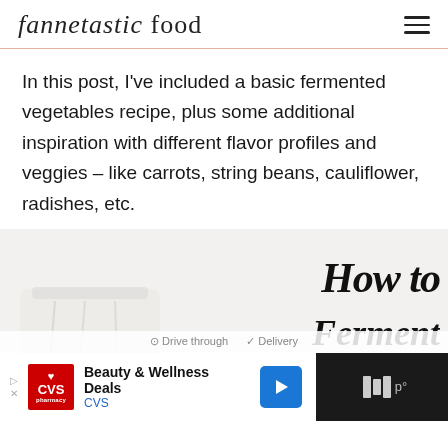fannetastic food
In this post, I've included a basic fermented vegetables recipe, plus some additional inspiration with different flavor profiles and veggies – like carrots, string beans, cauliflower, radishes, etc.
[Figure (illustration): Decorative image with cursive script text reading 'How to Ferment Vegetables' with a red underline, and a glass jar in the lower left corner on a light background.]